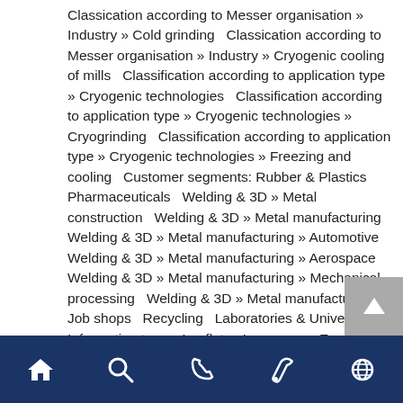Classication according to Messer organisation » Industry » Cold grinding   Classication according to Messer organisation » Industry » Cryogenic cooling of mills   Classification according to application type » Cryogenic technologies   Classification according to application type » Cryogenic technologies » Cryogrinding   Classification according to application type » Cryogenic technologies » Freezing and cooling   Customer segments: Rubber & Plastics   Pharmaceuticals   Welding & 3D » Metal construction   Welding & 3D » Metal manufacturing   Welding & 3D » Metal manufacturing » Automotive   Welding & 3D » Metal manufacturing » Aerospace   Welding & 3D » Metal manufacturing » Mechanical processing   Welding & 3D » Metal manufacturing » Job shops   Recycling   Laboratories & Universities   Information types: Leaflets   Languages: English   Topic: Gas applications software